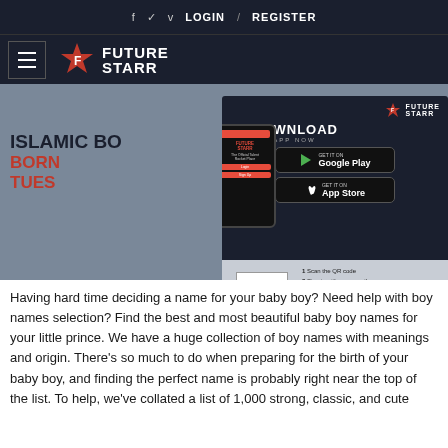f  ✓  v  LOGIN  /  REGISTER
[Figure (logo): Future Starr logo with hamburger menu on dark navy background]
[Figure (screenshot): Website article header image showing Islamic boy names content with Future Starr app download advertisement overlay]
Having hard time deciding a name for your baby boy? Need help with boy names selection? Find the best and most beautiful baby boy names for your little prince. We have a huge collection of boy names with meanings and origin. There's so much to do when preparing for the birth of your baby boy, and finding the perfect name is probably right near the top of the list. To help, we've collated a list of 1,000 strong, classic, and cute